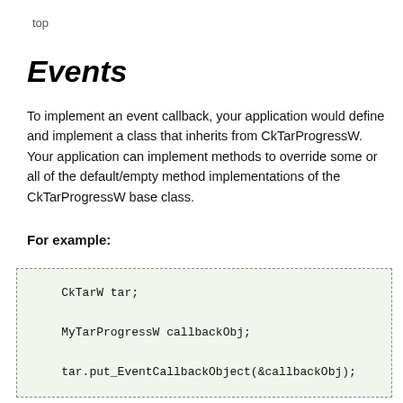top
Events
To implement an event callback, your application would define and implement a class that inherits from CkTarProgressW. Your application can implement methods to override some or all of the default/empty method implementations of the CkTarProgressW base class.
For example:
CkTarW tar;

MyTarProgressW callbackObj;

tar.put_EventCallbackObject(&callbackObj);
NoTarProgressW  ...